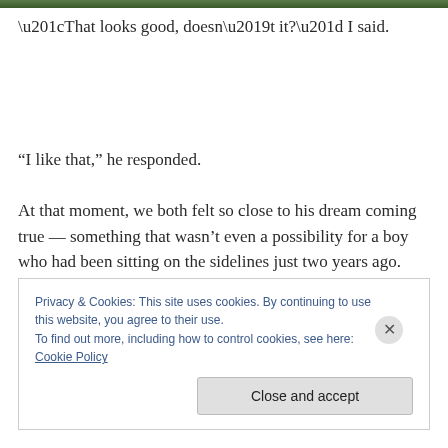[Figure (photo): Partial photo strip visible at the top of the page, showing green outdoor scene.]
“That looks good, doesn’t it?” I said.
“I like that,” he responded.
At that moment, we both felt so close to his dream coming true — something that wasn’t even a possibility for a boy who had been sitting on the sidelines just two years ago.
Privacy & Cookies: This site uses cookies. By continuing to use this website, you agree to their use.
To find out more, including how to control cookies, see here: Cookie Policy
Close and accept